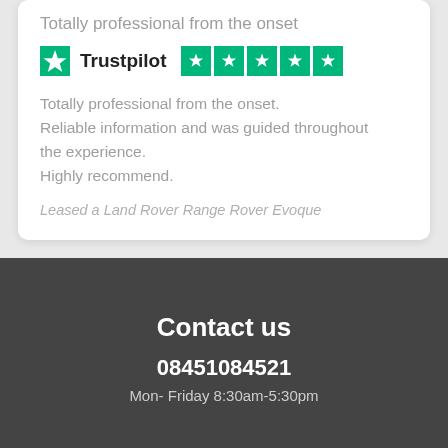Totally professional from the onset
[Figure (logo): Trustpilot logo with star icon and five green star rating boxes]
Totally professional from the onset. Reliable information and was guided throughout the experience. Highly recommend.
Leased a Land Rover Range Rover Evoque
Contact us
08451084521
Mon- Friday 8:30am-5:30pm